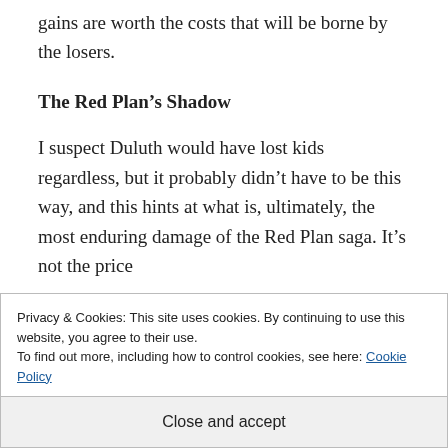gains are worth the costs that will be borne by the losers.
The Red Plan’s Shadow
I suspect Duluth would have lost kids regardless, but it probably didn’t have to be this way, and this hints at what is, ultimately, the most enduring damage of the Red Plan saga. It’s not the price
Privacy & Cookies: This site uses cookies. By continuing to use this website, you agree to their use.
To find out more, including how to control cookies, see here: Cookie Policy
Close and accept